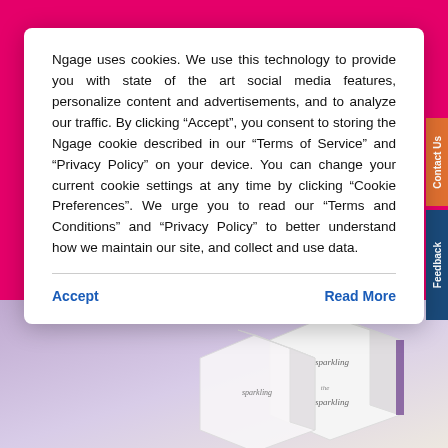Ngage uses cookies. We use this technology to provide you with state of the art social media features, personalize content and advertisements, and to analyze our traffic. By clicking “Accept”, you consent to storing the Ngage cookie described in our “Terms of Service” and “Privacy Policy” on your device. You can change your current cookie settings at any time by clicking “Cookie Preferences”. We urge you to read our “Terms and Conditions” and “Privacy Policy” to better understand how we maintain our site, and collect and use data.
Accept
Read More
[Figure (photo): Bath bomb product box with sparkling script lettering on a lavender/purple background]